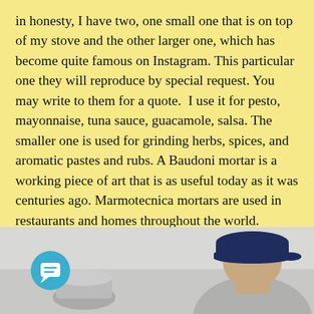in honesty, I have two, one small one that is on top of my stove and the other larger one, which has become quite famous on Instagram. This particular one they will reproduce by special request. You may write to them for a quote.  I use it for pesto, mayonnaise, tuna sauce, guacamole, salsa. The smaller one is used for grinding herbs, spices, and aromatic pastes and rubs. A Baudoni mortar is a working piece of art that is as useful today as it was centuries ago. Marmotecnica mortars are used in restaurants and homes throughout the world.
Pictured here is Giordano Baudoni, the founder of Marmotecnica, who introduced me to the lusciousness of Lardo di Colonnata  in a tiny and rustic
[Figure (photo): Photo of Giordano Baudoni wearing a dark navy baseball cap, with a mortar visible to the left side. A teal chat icon overlay appears in the lower-left corner of the image.]